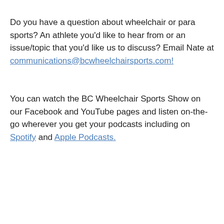Do you have a question about wheelchair or para sports? An athlete you'd like to hear from or an issue/topic that you'd like us to discuss? Email Nate at communications@bcwheelchairsports.com!
You can watch the BC Wheelchair Sports Show on our Facebook and YouTube pages and listen on-the-go wherever you get your podcasts including on Spotify and Apple Podcasts.